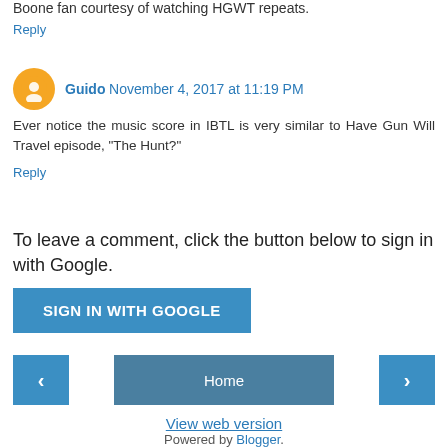Boone fan courtesy of watching HGWT repeats.
Reply
Guido November 4, 2017 at 11:19 PM
Ever notice the music score in IBTL is very similar to Have Gun Will Travel episode, "The Hunt?"
Reply
To leave a comment, click the button below to sign in with Google.
SIGN IN WITH GOOGLE
Home
View web version
Powered by Blogger.